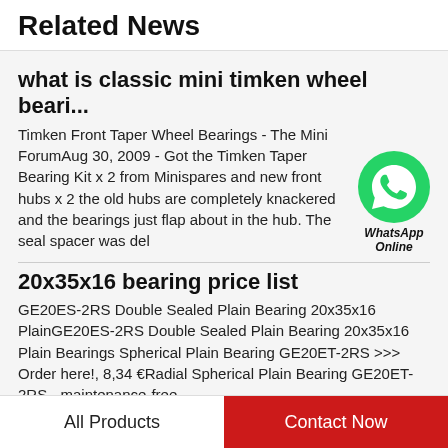Related News
what is classic mini timken wheel beari...
Timken Front Taper Wheel Bearings - The Mini ForumAug 30, 2009 - Got the Timken Taper Bearing Kit x 2 from Minispares and new front hubs x 2 the old hubs are completely knackered and the bearings just flap about in the hub. The seal spacer was del
[Figure (logo): WhatsApp green speech bubble icon with phone receiver, labeled 'WhatsApp Online']
20x35x16 bearing price list
GE20ES-2RS Double Sealed Plain Bearing 20x35x16 PlainGE20ES-2RS Double Sealed Plain Bearing 20x35x16 Plain Bearings Spherical Plain Bearing GE20ET-2RS >>> Order here!, 8,34 €Radial Spherical Plain Bearing GE20ET-2RS - maintenance-free...
All Products   Contact Now